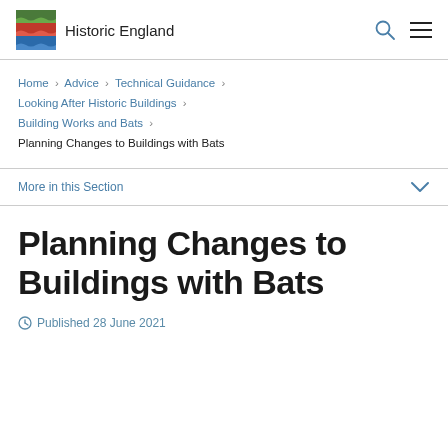Historic England
Home > Advice > Technical Guidance > Looking After Historic Buildings > Building Works and Bats > Planning Changes to Buildings with Bats
More in this Section
Planning Changes to Buildings with Bats
Published 28 June 2021